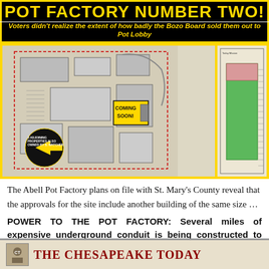POT FACTORY NUMBER TWO!
Voters didn't realize the extent of how badly the Bozo Board sold them out to Pot Lobby
[Figure (map): Architectural/site plan map of the Abell Pot Factory location filed with St. Mary's County, showing building footprints, red-outlined parcel boundaries, a black arrow circle labeled '3 ADJOINING PROPERTIES ALSO OWNED BY S. WATCHER', a yellow rectangle with 'COMING SOON!' text, and a side panel showing a green-highlighted building footprint on a narrow parcel.]
The Abell Pot Factory plans on file with St. Mary's County reveal that the approvals for the site include another building of the same size …
POWER TO THE POT FACTORY: Several miles of expensive underground conduit is being constructed to fuel Abell Pot Factory, with no windmills or solar to help heal pain afflicted with marijuana byproducts
THE CHESAPEAKE TODAY